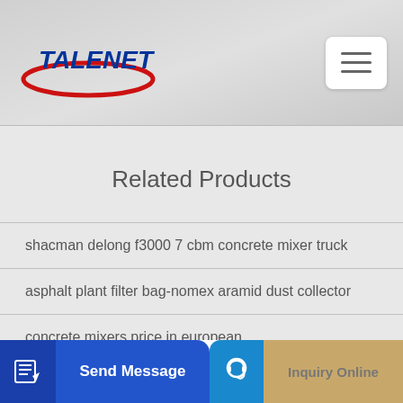[Figure (logo): Talenet company logo with red swoosh and blue bold italic text reading TALENET]
[Figure (other): Hamburger menu button (three horizontal lines) in a white rounded rectangle]
Related Products
shacman delong f3000 7 cbm concrete mixer truck
asphalt plant filter bag-nomex aramid dust collector
concrete mixers price in european
[Figure (other): Send Message button with pencil/edit icon on blue background]
[Figure (other): Inquiry Online button with headset icon on blue/gold background]